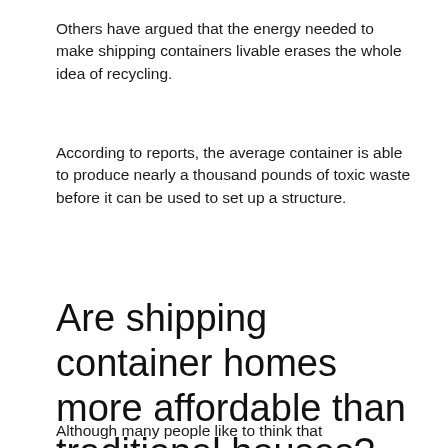Others have argued that the energy needed to make shipping containers livable erases the whole idea of recycling.
According to reports, the average container is able to produce nearly a thousand pounds of toxic waste before it can be used to set up a structure.
Are shipping container homes more affordable than traditional houses?
Although many people like to think that